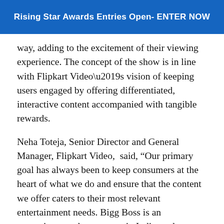Rising Star Awards Entries Open- ENTER NOW
way, adding to the excitement of their viewing experience. The concept of the show is in line with Flipkart Video’s vision of keeping users engaged by offering differentiated, interactive content accompanied with tangible rewards.
Neha Toteja, Senior Director and General Manager, Flipkart Video,  said, “Our primary goal has always been to keep consumers at the heart of what we do and ensure that the content we offer caters to their most relevant entertainment needs. Bigg Boss is an entertainment phenomenon in India, and we have identified a way to customize a portion for our users in an engaging format. Over the past year, with